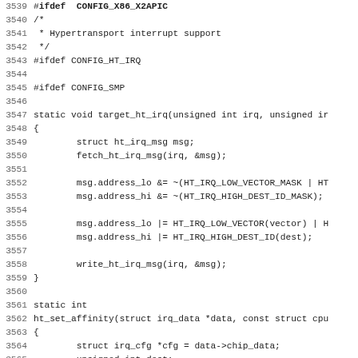Source code listing lines 3539-3571, C kernel code for Hypertransport interrupt support including CONFIG_HT_IRQ, CONFIG_SMP, target_ht_irq function, and ht_set_affinity function.